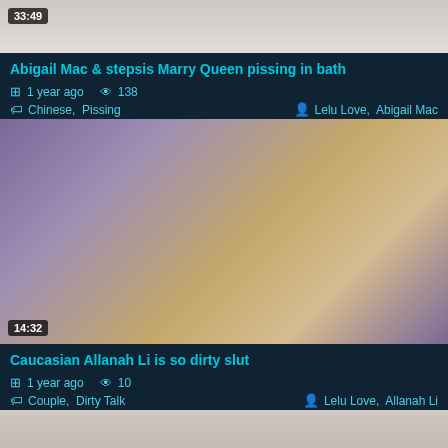[Figure (photo): Top partial video thumbnail showing persons on white/pink background, cropped at top]
Abigail Mac & stepsis Marry Queen pissing in bath
1 year ago  138  Chinese, Pissing  Lelu Love, Abigail Mac
[Figure (photo): Video thumbnail showing a woman on purple bedding, duration 14:32]
Caucasian Allanah Li is so dirty slut
1 year ago  10  Couple, Dirty Talk  Lelu Love, Allanah Li
[Figure (photo): Bottom partial video thumbnail showing a person, cropped at bottom of page]